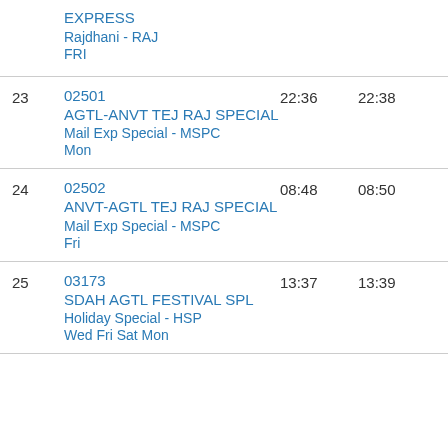| # | Train | Arrival | Departure |
| --- | --- | --- | --- |
|  | EXPRESS
Rajdhani - RAJ
FRI |  |  |
| 23 | 02501
AGTL-ANVT TEJ RAJ SPECIAL
Mail Exp Special - MSPC
Mon | 22:36 | 22:38 |
| 24 | 02502
ANVT-AGTL TEJ RAJ SPECIAL
Mail Exp Special - MSPC
Fri | 08:48 | 08:50 |
| 25 | 03173
SDAH AGTL FESTIVAL SPL
Holiday Special - HSP
Wed Fri Sat Mon | 13:37 | 13:39 |